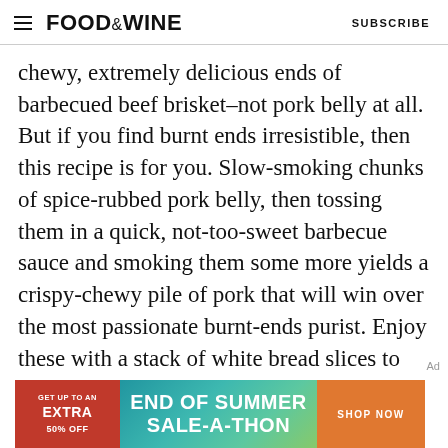FOOD&WINE  SUBSCRIBE
chewy, extremely delicious ends of barbecued beef brisket–not pork belly at all. But if you find burnt ends irresistible, then this recipe is for you. Slow-smoking chunks of spice-rubbed pork belly, then tossing them in a quick, not-too-sweet barbecue sauce and smoking them some more yields a crispy-chewy pile of pork that will win over the most passionate burnt-ends purist. Enjoy these with a stack of white bread slices to sop up the sauce, along with tangy pickles and raw onion to cut through the richness.
GET THE RECIPE
[Figure (infographic): Advertisement banner: red section on left with 'GET UP TO AN EXTRA 50% OFF', center gradient teal-green with 'END OF SUMMER SALE-A-THON', orange button on right with 'SHOP NOW']